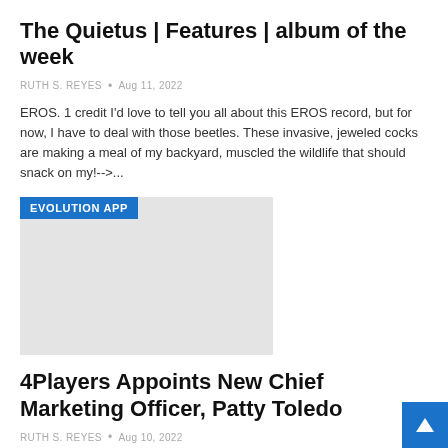The Quietus | Features | album of the week
RUTH S. REYES  •  Aug 11, 2022
EROS. 1 credit I'd love to tell you all about this EROS record, but for now, I have to deal with those beetles. These invasive, jeweled cocks are making a meal of my backyard, muscled the wildlife that should snack on my!-->...
[Figure (photo): Image block with blue 'EVOLUTION APP' label overlay on a light gray placeholder image]
4Players Appoints New Chief Marketing Officer, Patty Toledo
RUTH S. REYES  •  Aug 10, 2022
Veterans of pioneering technology, 4Players has announced the appointment of industry leader Patty Toledo as its first Chief Marketing Officer. Patty brings her considerable skillset to 4Players as it prepares...